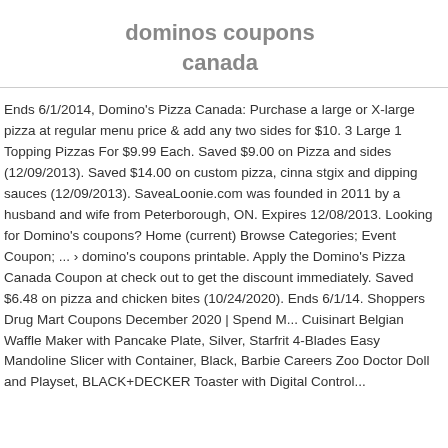dominos coupons canada
Ends 6/1/2014, Domino's Pizza Canada: Purchase a large or X-large pizza at regular menu price & add any two sides for $10. 3 Large 1 Topping Pizzas For $9.99 Each. Saved $9.00 on Pizza and sides (12/09/2013). Saved $14.00 on custom pizza, cinna stgix and dipping sauces (12/09/2013). SaveaLoonie.com was founded in 2011 by a husband and wife from Peterborough, ON. Expires 12/08/2013. Looking for Domino's coupons? Home (current) Browse Categories; Event Coupon; ... › domino's coupons printable. Apply the Domino's Pizza Canada Coupon at check out to get the discount immediately. Saved $6.48 on pizza and chicken bites (10/24/2020). Ends 6/1/14. Shoppers Drug Mart Coupons December 2020 | Spend M... Cuisinart Belgian Waffle Maker with Pancake Plate, Silver, Starfrit 4-Blades Easy Mandoline Slicer with Container, Black, Barbie Careers Zoo Doctor Doll and Playset, BLACK+DECKER Toaster with Digital Control...